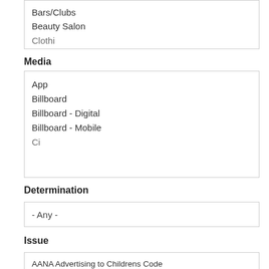Bars/Clubs
Beauty Salon
Clothi...
Media
App
Billboard
Billboard - Digital
Billboard - Mobile
Ci...
Determination
- Any -
Issue
AANA Advertising to Childrens Code
AANA Advertising to Childrens Code \ 2.1 Community Stan...
AANA Advertising to Childrens Code \ 2.1 Community Stan...
AANA Advertising to Childrens Code \ 2.10 Popular person...
AANA Advertising to Childrens Code \ 2.10 P...
Grouping
Determination
SEARCH CASES